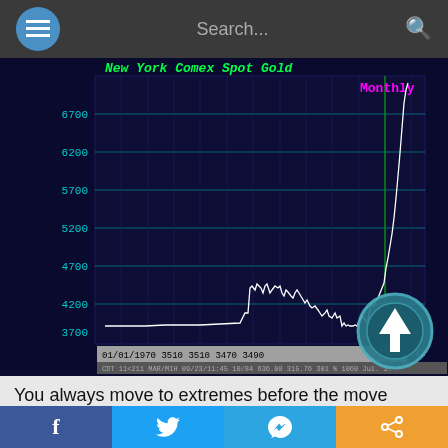Search...
[Figure (continuous-plot): Line chart of New York Comex Spot Gold prices on a monthly basis, showing price levels from the 1960s through the early 1970s with a dramatic spike upward at the right edge. Y-axis labels: 3700, 4200, 4700, 5200, 5700, 6200, 6700. X-axis labels: 60, 67, 62, 63, 64, 65, 66, 67, 68, 69, 70, 71, 72.]
You always move to extremes before the move precisely as did gold in 1970 falling BELOW the Bretton Woods fixed
f  [Twitter]  [Telegram]  [Share]